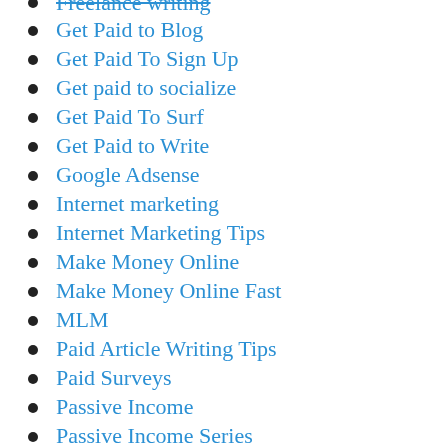Freelance writing
Get Paid to Blog
Get Paid To Sign Up
Get paid to socialize
Get Paid To Surf
Get Paid to Write
Google Adsense
Internet marketing
Internet Marketing Tips
Make Money Online
Make Money Online Fast
MLM
Paid Article Writing Tips
Paid Surveys
Passive Income
Passive Income Series
Passive Income Streams